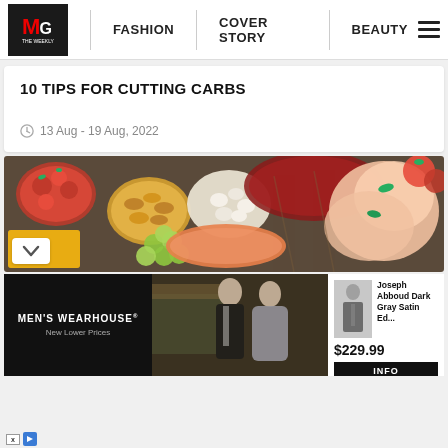MG THE WEEKLY | FASHION | COVER STORY | BEAUTY
10 TIPS FOR CUTTING CARBS
13 Aug - 19 Aug, 2022
[Figure (photo): Top-down view of low-carb foods including strawberries, nuts, cheese, grapes, salmon, raw meat, chicken breasts, and tomatoes on a dark surface]
[Figure (photo): Men's Wearhouse advertisement showing a couple in formalwear and a product listing for Joseph Abboud Dark Gray Satin Edition suit at $229.99 with INFO button]